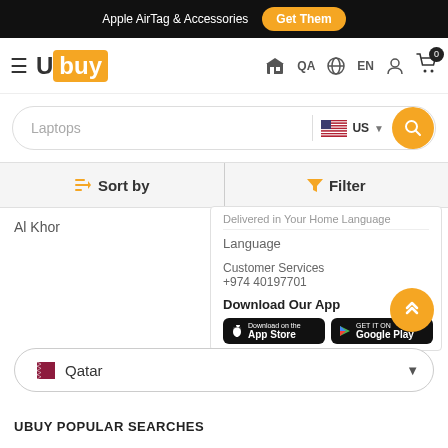Apple AirTag & Accessories  Get Them
[Figure (logo): Ubuy logo with hamburger menu, country QA, language EN, user icon, and cart with 0 items]
Laptops  US
Sort by  Filter
Al Khor
Language
Customer Services
+974 40197701
Download Our App
[Figure (logo): Download on the App Store button]
[Figure (logo): Get it on Google Play button]
Qatar
UBUY POPULAR SEARCHES